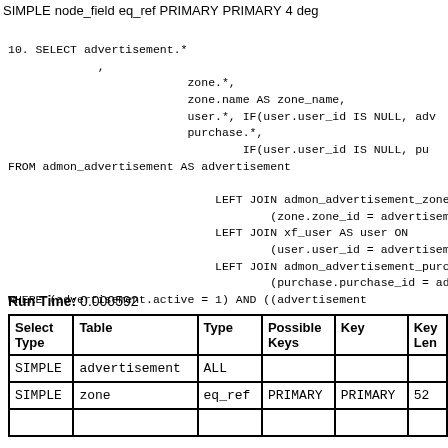| Select Type | Table | Type | Possible Keys | Key | Key Len |
| --- | --- | --- | --- | --- | --- |
| SIMPLE | node_field | eq_ref | PRIMARY | PRIMARY | 4 | deg |
10. SELECT advertisement.*
             ,
                          zone.*,
                          zone.name AS zone_name,
                          user.*, IF(user.user_id IS NULL, adv
                          purchase.*,
                                  IF(user.user_id IS NULL, pu
FROM admon_advertisement AS advertisement

                              LEFT JOIN admon_advertisement_zone A
                                      (zone.zone_id = advertisemen
                              LEFT JOIN xf_user AS user ON
                                      (user.user_id = advertisemen
                              LEFT JOIN admon_advertisement_purcha
                                      (purchase.purchase_id = adve
WHERE (advertisement.active = 1) AND ((advertisement
Run Time: 0.000592
| Select Type | Table | Type | Possible Keys | Key | Key Len |
| --- | --- | --- | --- | --- | --- |
| SIMPLE | advertisement | ALL |  |  |  |
| SIMPLE | zone | eq_ref | PRIMARY | PRIMARY | 52 |
| SIMPLE |  |  |  |  |  |